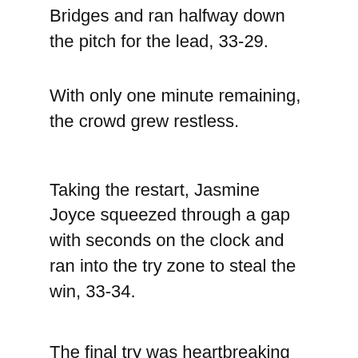Bridges and ran halfway down the pitch for the lead, 33-29.
With only one minute remaining, the crowd grew restless.
Taking the restart, Jasmine Joyce squeezed through a gap with seconds on the clock and ran into the try zone to steal the win, 33-34.
The final try was heartbreaking for a USA side who fought through the adversity for all 80 minutes to come back on the other side. Regardless, the match left an imprint on a full crowd at Infinity Park who watched as the new era of the Women's Eagles showed strength and depth in loads.
The Women's Eagles will return June 28 to July 14 for the Women's Rugby Super Series in San Diego, CA, facing No. 1